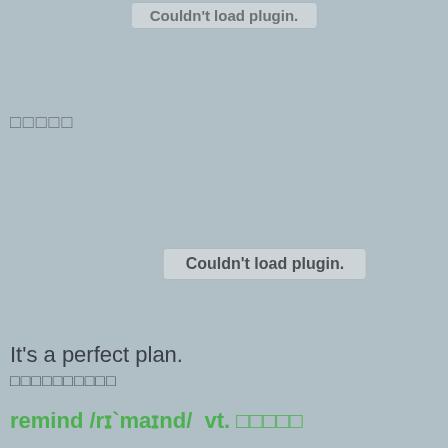[Figure (other): Plugin placeholder box at top center with text 'Couldn't load plugin.']
□□□□□
[Figure (other): Plugin placeholder box in center-right area with text 'Couldn't load plugin.']
It's a perfect plan.
□□□□□□□□□□
remind /rɪ`maɪnd/  vt. □□□□□